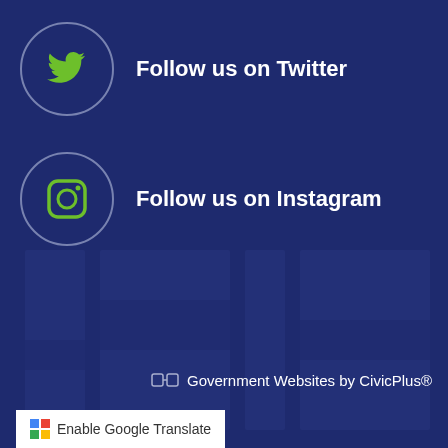[Figure (logo): Twitter bird logo in green inside a circle, with text 'Follow us on Twitter']
Follow us on Twitter
[Figure (logo): Instagram camera icon in green inside a circle, with text 'Follow us on Instagram']
Follow us on Instagram
[Figure (illustration): Faded background image of building interior panels]
Government Websites by CivicPlus®
Enable Google Translate